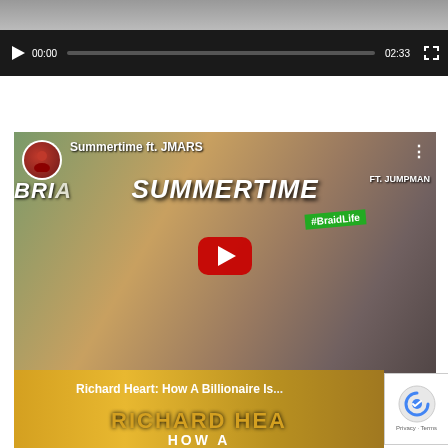[Figure (screenshot): Top portion of a video player showing controls bar with play button, time 00:00, progress bar, duration 02:33, and fullscreen button on dark background]
[Figure (screenshot): YouTube embedded video player showing 'Summertime ft. JMARS' music video thumbnail with a woman in sunglasses and #BraidLife shirt visible, SUMMERTIME text overlay, channel icon, YouTube play button, and player controls showing 00:00 / 04:17]
[Figure (screenshot): Bottom partial YouTube video thumbnail for 'Richard Heart: How A Billionaire Is...' with LinkUpTV channel icon, golden background, and partially visible text 'RICHARD HEA...' and 'HOW A']
[Figure (screenshot): reCAPTCHA badge in bottom right corner showing robot icon with Privacy and Terms links]